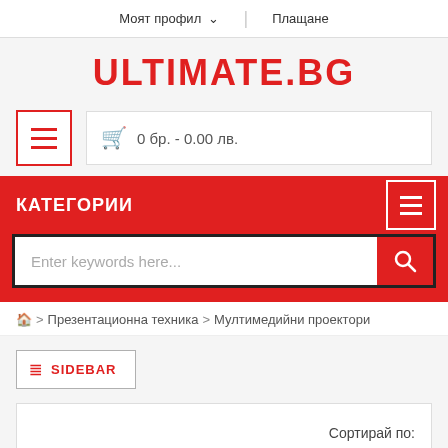Моят профил ∨ | Плащане
ULTIMATE.BG
0 бр. - 0.00 лв.
КАТЕГОРИИ
Enter keywords here...
🏠 > Презентационна техника > Мултимедийни проектори
≡ SIDEBAR
Сортирай по: